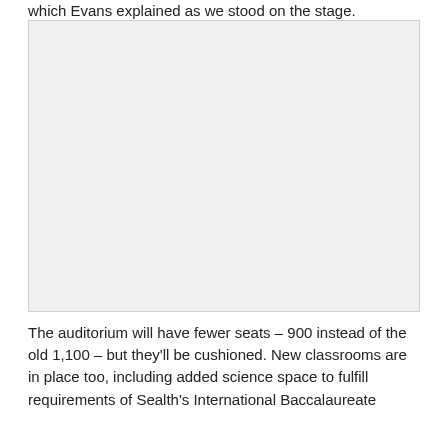which Evans explained as we stood on the stage.
[Figure (photo): A large empty image area representing a photo of the auditorium stage or interior, shown as a light gray placeholder rectangle.]
The auditorium will have fewer seats – 900 instead of the old 1,100 – but they'll be cushioned. New classrooms are in place too, including added science space to fulfill requirements of Sealth's International Baccalaureate